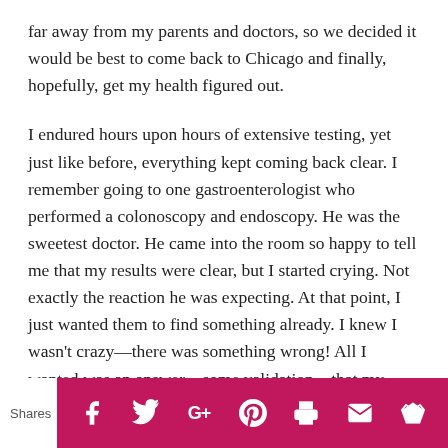far away from my parents and doctors, so we decided it would be best to come back to Chicago and finally, hopefully, get my health figured out.
I endured hours upon hours of extensive testing, yet just like before, everything kept coming back clear. I remember going to one gastroenterologist who performed a colonoscopy and endoscopy. He was the sweetest doctor. He came into the room so happy to tell me that my results were clear, but I started crying. Not exactly the reaction he was expecting. At that point, I just wanted them to find something already. I knew I wasn't crazy—there was something wrong! All I wanted was an answer—some validation—that my suffering wasn't “all in my mind”. Then, I saw my
Shares | [social icons: Facebook, Twitter, Google+, Pinterest, Print, Email, Crown]